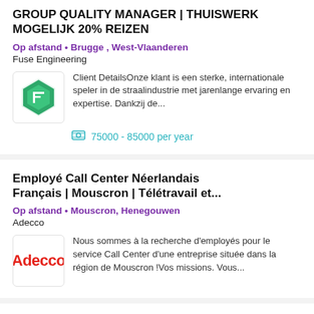GROUP QUALITY MANAGER | THUISWERK MOGELIJK 20% REIZEN
Op afstand • Brugge , West-Vlaanderen
Fuse Engineering
[Figure (logo): Fuse Engineering logo: green diamond shape with F letter]
Client DetailsOnze klant is een sterke, internationale speler in de straalindustrie met jarenlange ervaring en expertise. Dankzij de...
75000 - 85000 per year
Employé Call Center Néerlandais Français | Mouscron | Télétravail et...
Op afstand • Mouscron, Henegouwen
Adecco
[Figure (logo): Adecco logo: red Adecco text on white background]
Nous sommes à la recherche d'employés pour le service Call Center d'une entreprise située dans la région de Mouscron !Vos missions. Vous...